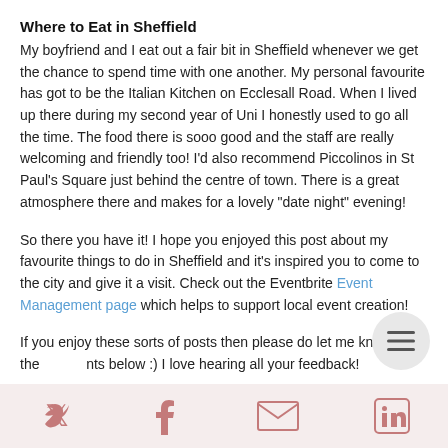Where to Eat in Sheffield
My boyfriend and I eat out a fair bit in Sheffield whenever we get the chance to spend time with one another. My personal favourite has got to be the Italian Kitchen on Ecclesall Road. When I lived up there during my second year of Uni I honestly used to go all the time. The food there is sooo good and the staff are really welcoming and friendly too! I'd also recommend Piccolinos in St Paul's Square just behind the centre of town. There is a great atmosphere there and makes for a lovely "date night" evening!
So there you have it! I hope you enjoyed this post about my favourite things to do in Sheffield and it's inspired you to come to the city and give it a visit. Check out the Eventbrite Event Management page which helps to support local event creation!
If you enjoy these sorts of posts then please do let me know in the comments below :) I love hearing all your feedback!
[Figure (infographic): Footer bar with social media icons: Twitter bird, Facebook f, envelope/email, LinkedIn in — in muted rose/salmon color on a light pink background]